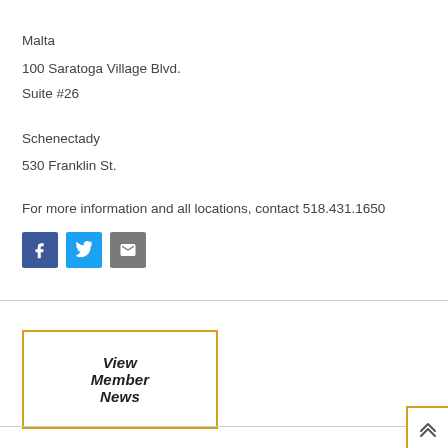Malta
100 Saratoga Village Blvd.
Suite #26
Schenectady
530 Franklin St.
For more information and all locations, contact 518.431.1650
[Figure (infographic): Three social media icon buttons: Facebook (dark blue), Twitter (light blue), and Email (grey)]
View Member News
[Figure (infographic): Back to top arrow icon in bottom right corner, bordered with yellow/gold outline]